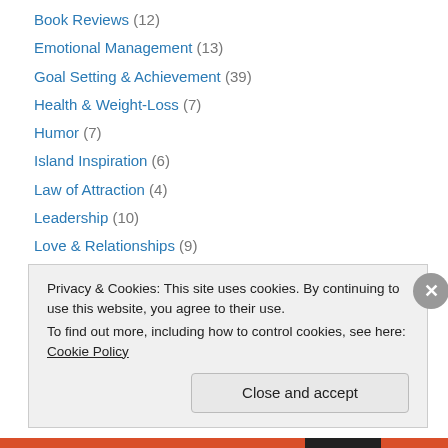Book Reviews (12)
Emotional Management (13)
Goal Setting & Achievement (39)
Health & Weight-Loss (7)
Humor (7)
Island Inspiration (6)
Law of Attraction (4)
Leadership (10)
Love & Relationships (9)
Meditation & Being Present (11)
Peaceful Productivity (7)
Procrastination (5)
Productivity (4)
Privacy & Cookies: This site uses cookies. By continuing to use this website, you agree to their use. To find out more, including how to control cookies, see here: Cookie Policy
Close and accept